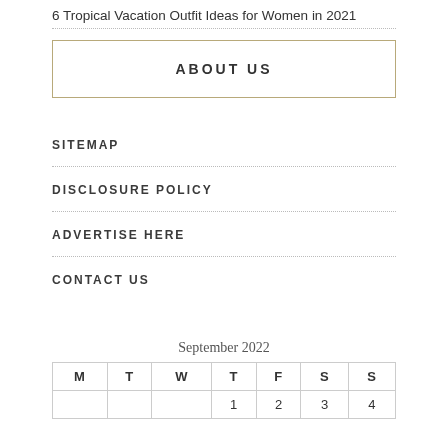6 Tropical Vacation Outfit Ideas for Women in 2021
ABOUT US
SITEMAP
DISCLOSURE POLICY
ADVERTISE HERE
CONTACT US
September 2022
| M | T | W | T | F | S | S |
| --- | --- | --- | --- | --- | --- | --- |
|  |  |  | 1 | 2 | 3 | 4 |